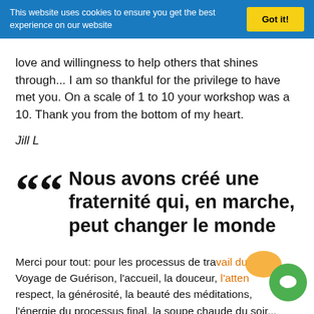This website uses cookies to ensure you get the best experience on our website | Got it!
love and willingness to help others that shines through... I am so thankful for the privilege to have met you. On a scale of 1 to 10 your workshop was a 10. Thank you from the bottom of my heart.
Jill L
““ Nous avons créé une fraternité qui, en marche, peut changer le monde
Merci pour tout: pour les processus de travail du Voyage de Guérison, l'accueil, la douceur, l'atten respect, la générosité, la beauté des méditations, l'énergie du processus final, la soupe chaude du soir...